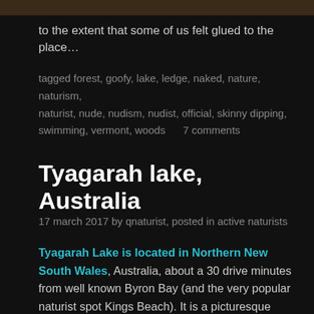[Figure (photo): Top strip of a photo showing rocky/earthy textures, partially cropped]
to the extent that some of us felt glued to the place…
tagged forest, goofy, lake, ledge, naked, nature, naturism, naturist, nude, nudism, nudist, official, skinny dipping, swimming, vermont, woods     7 comments
Tyagarah lake, Australia
17 march 2017 by qnaturist, posted in active naturists
Tyagarah Lake is located in Northern New South Wales, Australia, about a 30 drive minutes from well known Byron Bay (and the very popular naturist spot Kings Beach). It is a picturesque small freshwater lake just minutes from the beach. A much larger lake is